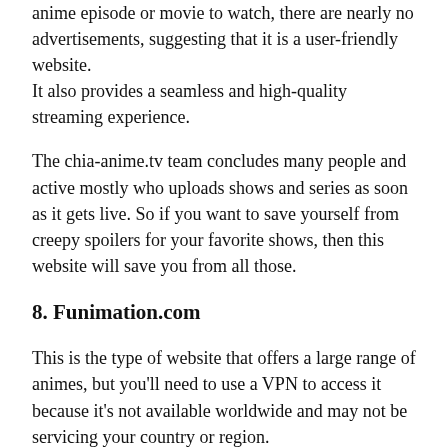anime episode or movie to watch, there are nearly no advertisements, suggesting that it is a user-friendly website.
It also provides a seamless and high-quality streaming experience.
The chia-anime.tv team concludes many people and active mostly who uploads shows and series as soon as it gets live. So if you want to save yourself from creepy spoilers for your favorite shows, then this website will save you from all those.
8. Funimation.com
This is the type of website that offers a large range of animes, but you'll need to use a VPN to access it because it's not available worldwide and may not be servicing your country or region.